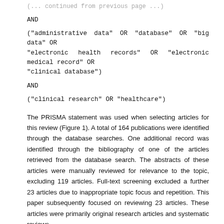(... query continues from previous page ...)
AND
("administrative data" OR "database" OR "big data" OR "electronic health records" OR "electronic medical record" OR "clinical database")
AND
("clinical research" OR "healthcare")
The PRISMA statement was used when selecting articles for this review (Figure 1). A total of 164 publications were identified through the database searches. One additional record was identified through the bibliography of one of the articles retrieved from the database search. The abstracts of these articles were manually reviewed for relevance to the topic, excluding 119 articles. Full-text screening excluded a further 23 articles due to inappropriate topic focus and repetition. This paper subsequently focused on reviewing 23 articles. These articles were primarily original research articles and systematic reviews.